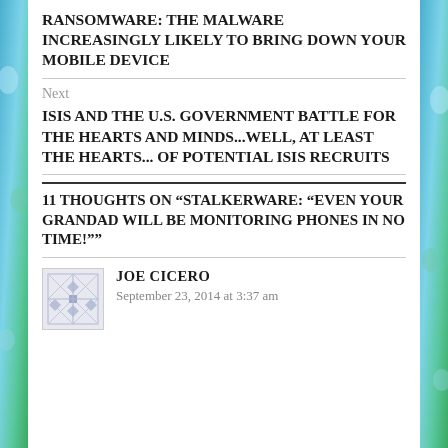RANSOMWARE: THE MALWARE INCREASINGLY LIKELY TO BRING DOWN YOUR MOBILE DEVICE
Next
ISIS AND THE U.S. GOVERNMENT BATTLE FOR THE HEARTS AND MINDS...WELL, AT LEAST THE HEARTS... OF POTENTIAL ISIS RECRUITS
11 THOUGHTS ON “STALKERWARE: “EVEN YOUR GRANDAD WILL BE MONITORING PHONES IN NO TIME!””
JOE CICERO
September 23, 2014 at 3:37 am